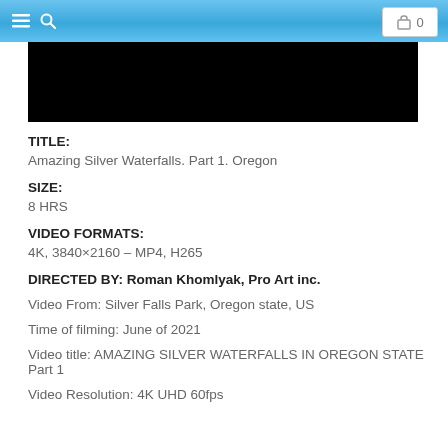≡ 🔍  0
[Figure (photo): Black video thumbnail/player area]
TITLE:
Amazing Silver Waterfalls. Part 1. Oregon
SIZE:
8 HRS
VIDEO FORMATS:
4K, 3840×2160 – MP4, H265
DIRECTED BY: Roman Khomlyak, Pro Art inc.
Video From: Silver Falls Park, Oregon state, US
Time of filming: June of 2021
Video title: AMAZING SILVER WATERFALLS IN OREGON STATE Part 1
Video Resolution: 4K UHD 60fps